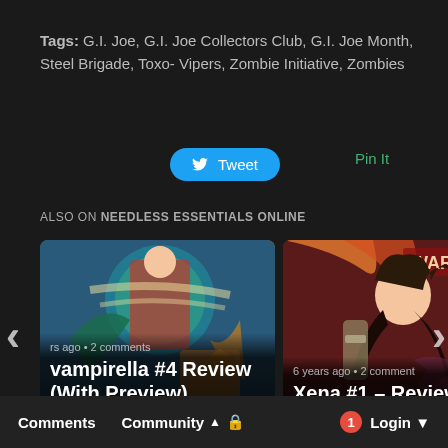Tags: G.I. Joe, G.I. Joe Collectors Club, G.I. Joe Month, Steel Brigade, Toxo- Vipers, Zombie Initiative, Zombies
Tweet
Pin It
ALSO ON NEEDLESS ESSENTIALS ONLINE
[Figure (photo): vampirella #4 Review (With Preview) — comic book cover art showing a female character with stained glass and dragon imagery. rs ago • 2 comments]
[Figure (photo): Xena #1 – Review — comic book cover art showing Xena with WAR text. 6 years ago • 2 comments]
Comments    Community    Login